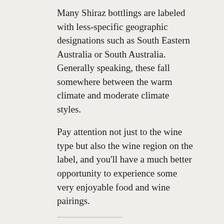Many Shiraz bottlings are labeled with less-specific geographic designations such as South Eastern Australia or South Australia. Generally speaking, these fall somewhere between the warm climate and moderate climate styles.
Pay attention not just to the wine type but also the wine region on the label, and you'll have a much better opportunity to experience some very enjoyable food and wine pairings.
Share this:
[Figure (other): Social share buttons: Twitter, Facebook, LinkedIn, Email]
Twitter
Facebook
LinkedIn
Email